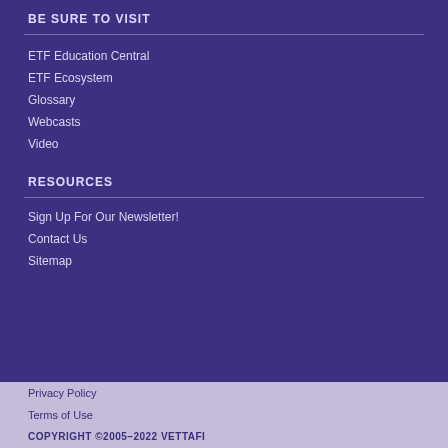BE SURE TO VISIT
ETF Education Central
ETF Ecosystem
Glossary
Webcasts
Video
RESOURCES
Sign Up For Our Newsletter!
Contact Us
Sitemap
Privacy Policy
Terms of Use
COPYRIGHT ©2005–2022 VETTAFI